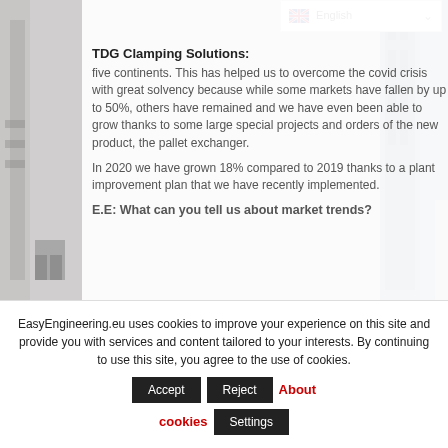English
TDG Clamping Solutions:
five continents. This has helped us to overcome the covid crisis with great solvency because while some markets have fallen by up to 50%, others have remained and we have even been able to grow thanks to some large special projects and orders of the new product, the pallet exchanger.
In 2020 we have grown 18% compared to 2019 thanks to a plant improvement plan that we have recently implemented.
E.E: What can you tell us about market trends?
EasyEngineering.eu uses cookies to improve your experience on this site and provide you with services and content tailored to your interests. By continuing to use this site, you agree to the use of cookies.
Accept  Reject  About cookies  Settings